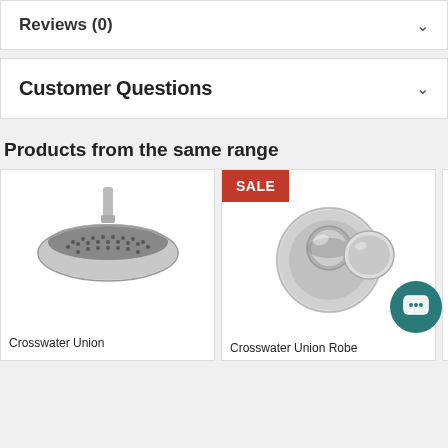Reviews (0)
Customer Questions
Products from the same range
[Figure (photo): Crosswater Union round overhead shower head, chrome finish, ceiling mounted]
Crosswater Union
[Figure (photo): Crosswater Union Robe hook, chrome finish, with SALE badge]
Crosswater Union Robe
[Figure (photo): Crosswater product partially visible, dark/black finish]